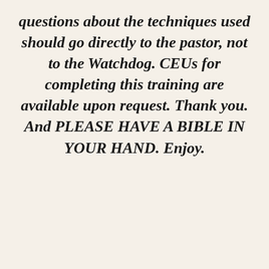questions about the techniques used should go directly to the pastor, not to the Watchdog. CEUs for completing this training are available upon request. Thank you. And PLEASE HAVE A BIBLE IN YOUR HAND. Enjoy.